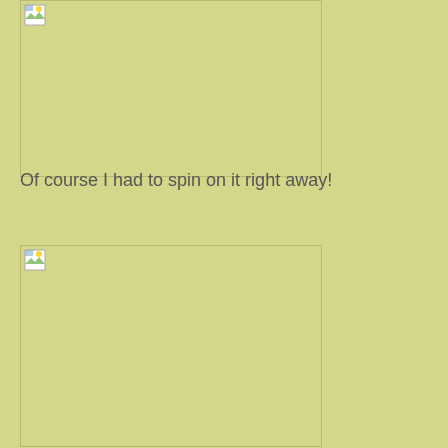[Figure (photo): Top image placeholder box with broken image icon in upper left corner]
Of course I had to spin on it right away!
[Figure (photo): Bottom image placeholder box with broken image icon in upper left corner]